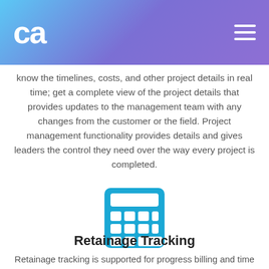CA logo and navigation
know the timelines, costs, and other project details in real time; get a complete view of the project details that provides updates to the management team with any changes from the customer or the field. Project management functionality provides details and gives leaders the control they need over the way every project is completed.
[Figure (illustration): Blue calculator icon]
Retainage Tracking
Retainage tracking is supported for progress billing and time and material billing of projects. Plus, project cost commitments are calculated with respect to retainage in purchase orders.